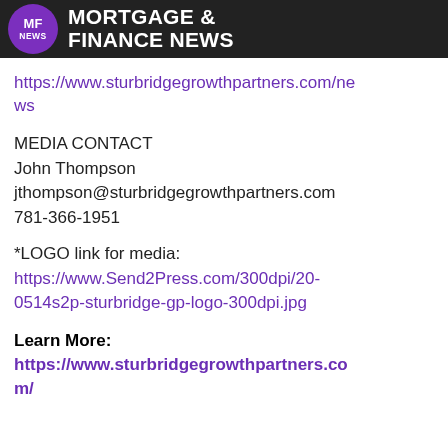MFN MORTGAGE & FINANCE NEWS
https://www.sturbridgegrowthpartners.com/news
MEDIA CONTACT
John Thompson
jthompson@sturbridgegrowthpartners.com
781-366-1951
*LOGO link for media:
https://www.Send2Press.com/300dpi/20-0514s2p-sturbridge-gp-logo-300dpi.jpg
Learn More:
https://www.sturbridgegrowthpartners.com/